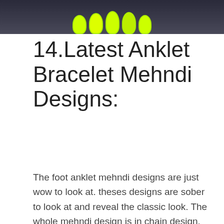[Figure (photo): Top portion of image showing hands with neon yellow/green painted nails against a dark background]
14.Latest Anklet Bracelet Mehndi Designs:
The foot anklet mehndi designs are just wow to look at. theses designs are sober to look at and reveal the classic look. The whole mehndi design is in chain design.
[Figure (photo): Close-up photo of an ankle/foot with mehndi (henna) anklet bracelet design in chain pattern]